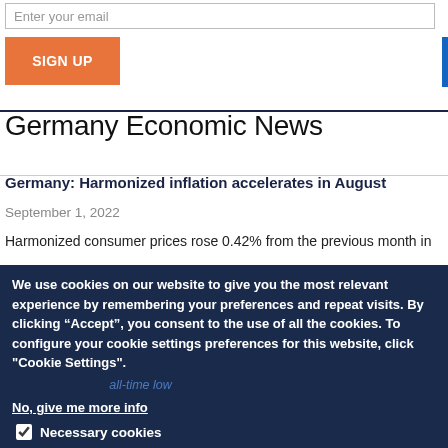Enter your email
SIGN UP
Germany Economic News
Germany: Harmonized inflation accelerates in August
September 1, 2022
Harmonized consumer prices rose 0.42% from the previous month in
We use cookies on our website to give you the most relevant experience by remembering your preferences and repeat visits. By clicking “Accept”, you consent to the use of all the cookies. To configure your cookie settings preferences for this website, click "Cookie Settings".
No, give me more info
Necessary cookies
Necessary cookies help make a website usable by enabling basic functions like page navigation and access to secure areas of the website. The website cannot function properly without these cookies.
Preference cookies